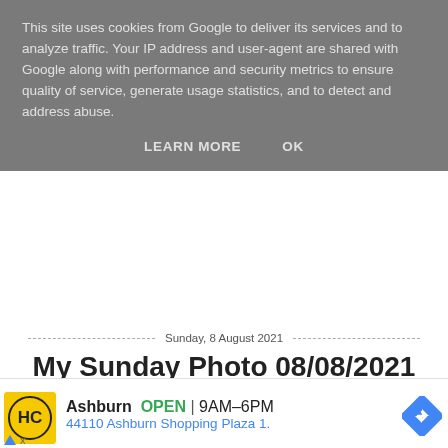This site uses cookies from Google to deliver its services and to analyze traffic. Your IP address and user-agent are shared with Google along with performance and security metrics to ensure quality of service, generate usage statistics, and to detect and address abuse.
LEARN MORE   OK
Sunday, 8 August 2021
My Sunday Photo 08/08/2021
[Figure (photo): Green leafy plants photo strip]
[Figure (infographic): Ad banner: HC logo, Ashburn OPEN 9AM-6PM, 44110 Ashburn Shopping Plaza 1., navigation arrow icon]